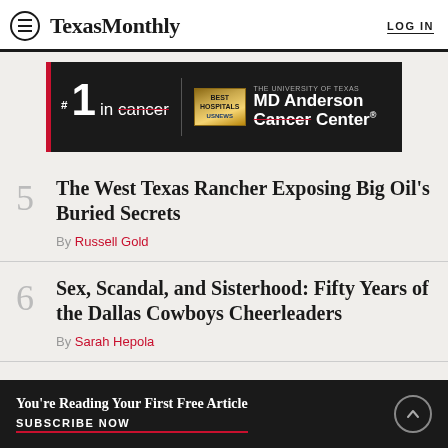TexasMonthly | LOG IN
[Figure (infographic): MD Anderson Cancer Center advertisement: #1 in cancer (with strikethrough on 'cancer'), Best Hospitals US News badge, THE UNIVERSITY OF TEXAS MD Anderson Cancer Center logo]
5 The West Texas Rancher Exposing Big Oil's Buried Secrets By Russell Gold
6 Sex, Scandal, and Sisterhood: Fifty Years of the Dallas Cowboys Cheerleaders By Sarah Hepola
You're Reading Your First Free Article SUBSCRIBE NOW